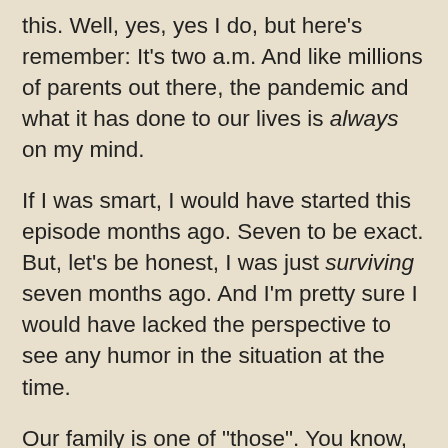this. Well, yes, yes I do, but here's remember: It's two a.m. And like millions of parents out there, the pandemic and what it has done to our lives is always on my mind.
If I was smart, I would have started this episode months ago. Seven to be exact. But, let's be honest, I was just surviving seven months ago. And I'm pretty sure I would have lacked the perspective to see any humor in the situation at the time.
Our family is one of "those". You know, one day it was the last day of school before spring break where I was picking up my second grader from school, lugging home his prized school work (we had to keep it, his best comic strips were written in the margins, after all) and going to my eighth grader's choir concert, and the next we turned into the crew on Gilligan's Island, where social interaction was a sweet dream and plotting and failing to get off the island our daily routine. Those were the days...